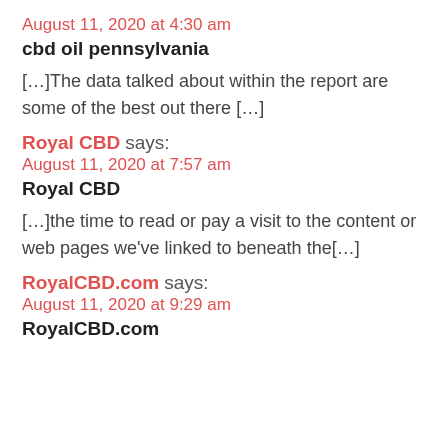August 11, 2020 at 4:30 am
cbd oil pennsylvania
[…]The data talked about within the report are some of the best out there […]
Royal CBD says:
August 11, 2020 at 7:57 am
Royal CBD
[…]the time to read or pay a visit to the content or web pages we've linked to beneath the[…]
RoyalCBD.com says:
August 11, 2020 at 9:29 am
RoyalCBD.com